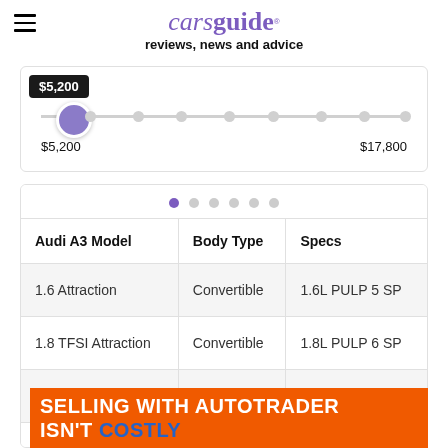carsguide reviews, news and advice
[Figure (other): Price range slider showing $5,200 selected (tooltip visible) on a horizontal track from $5,200 to $17,800, with a purple thumb indicator at the leftmost position and grey dots along the track.]
| Audi A3 Model | Body Type | Specs |
| --- | --- | --- |
| 1.6 Attraction | Convertible | 1.6L PULP 5 SP |
| 1.8 TFSI Attraction | Convertible | 1.8L PULP 6 SP |
| 2.0 TFSI Ambition | Convertible | 2.0L PULP 6 SP |
| 2.0 T... |  | P 6 SP |
[Figure (infographic): Autotrader advertisement banner: 'SELLING WITH AUTOTRADER ISN'T COSTLY' in white and blue bold text on orange background.]